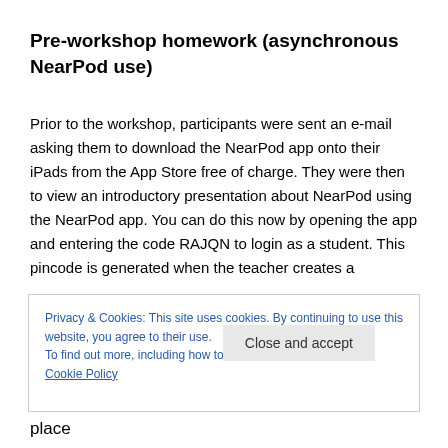Pre-workshop homework (asynchronous NearPod use)
Prior to the workshop, participants were sent an e-mail asking them to download the NearPod app onto their iPads from the App Store free of charge. They were then to view an introductory presentation about NearPod using the NearPod app. You can do this now by opening the app and entering the code RAJQN to login as a student. This pincode is generated when the teacher creates a
Privacy & Cookies: This site uses cookies. By continuing to use this website, you agree to their use.
To find out more, including how to control cookies, see here: Cookie Policy
Close and accept
place